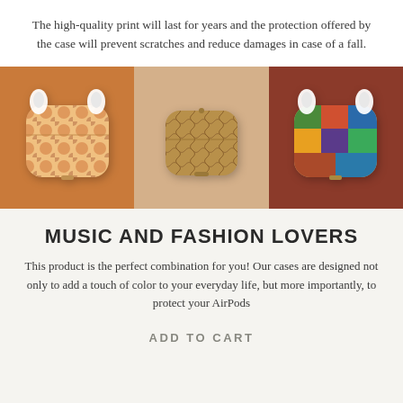The high-quality print will last for years and the protection offered by the case will prevent scratches and reduce damages in case of a fall.
[Figure (photo): Three AirPods cases displayed side by side against warm-toned backgrounds: left panel (orange/rust) shows a decorative patterned case, center panel (beige/tan) shows a brown textured case, right panel (dark rust/brick red) shows a case with photo collage design.]
MUSIC AND FASHION LOVERS
This product is the perfect combination for you! Our cases are designed not only to add a touch of color to your everyday life, but more importantly, to protect your AirPods
ADD TO CART